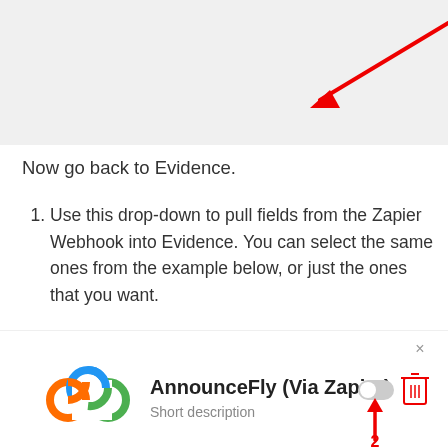[Figure (screenshot): Top portion of a UI screenshot showing a panel with a red diagonal arrow annotation and two icon buttons (text align and book icon) on the right side, on a light grey background.]
Now go back to Evidence.
Use this drop-down to pull fields from the Zapier Webhook into Evidence. You can select the same ones from the example below, or just the ones that you want.
Set the Email Address and First Name field-types.
Toggle the Source from OFF to ON.
Click Publish.
[Figure (screenshot): Bottom card showing AnnounceFly (Via Zapier) with a Zapier logo, 'Short description' text, an X close button, a toggle switch, a red upward arrow annotation, and a trash/delete icon.]